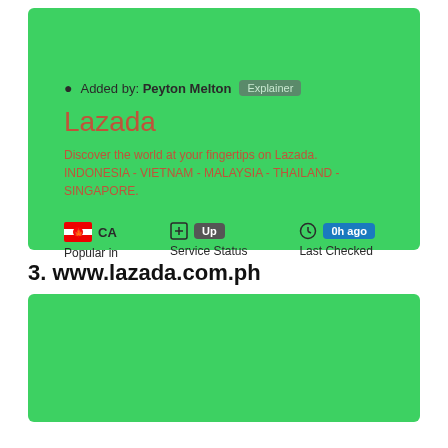Added by: Peyton Melton  Explainer
Lazada
Discover the world at your fingertips on Lazada. INDONESIA - VIETNAM - MALAYSIA - THAILAND - SINGAPORE.
CA  Popular in
Up  Service Status
0h ago  Last Checked
3. www.lazada.com.ph